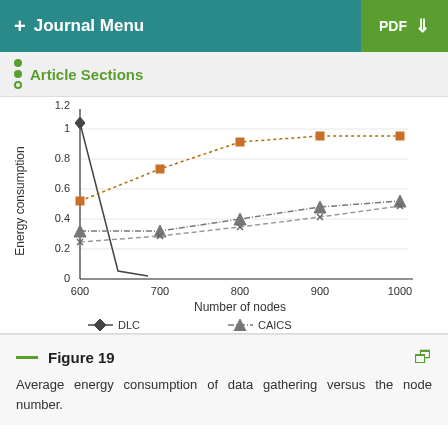+ Journal Menu  PDF
Article Sections
[Figure (line-chart): ]
Figure 19 Average energy consumption of data gathering versus the node number.